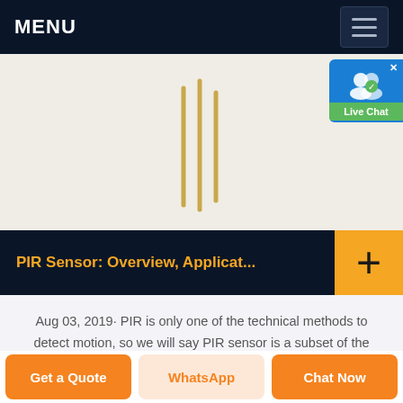MENU
[Figure (photo): PIR sensor product image on a light beige background, showing vertical gold/tan pins or leads of the sensor component]
PIR Sensor: Overview, Applicat...
Aug 03, 2019· PIR is only one of the technical methods to detect motion, so we will say PIR sensor is a subset of the motion sensor. PIR sensor is small in size, cheap in price, lowpower consumption and very easy to